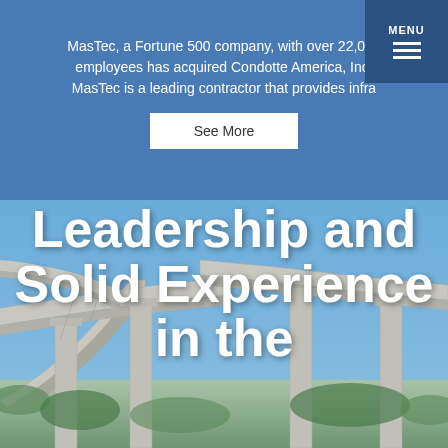MasTec, a Fortune 500 company, with over 22,000 employees has acquired Condotte America, Inc. MasTec is a leading contractor that provides infra
See More
[Figure (photo): Photograph of concrete highway overpass/bridge structure with multiple elevated ramps and support columns against a blue sky, with green vegetation visible at the base.]
Leadership and Solid Experience in the